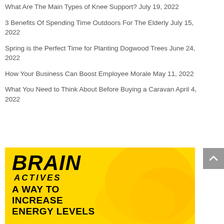What Are The Main Types of Knee Support? July 19, 2022
3 Benefits Of Spending Time Outdoors For The Elderly July 15, 2022
Spring is the Perfect Time for Planting Dogwood Trees June 24, 2022
How Your Business Can Boost Employee Morale May 11, 2022
What You Need to Think About Before Buying a Caravan April 4, 2022
[Figure (illustration): Brain Actives advertisement banner with bold yellow background showing text 'BRAIN ACTIVES - A WAY TO INCREASE ENERGY LEVELS' in black bold italic font, with decorative elements of gloved hands on yellow background.]